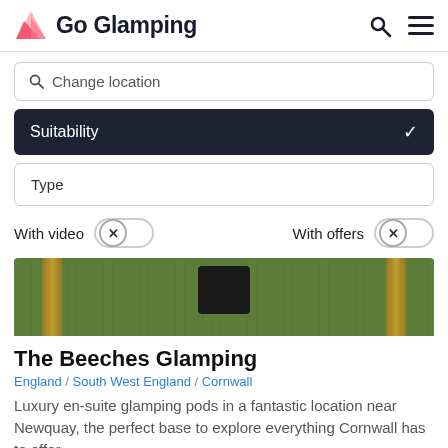Go Glamping
Change location
Suitability
Type
With video   With offers
[Figure (photo): Outdoor glamping scene with grass, wooden posts and dark equipment]
The Beeches Glamping
England / South West England / Cornwall
Luxury en-suite glamping pods in a fantastic location near Newquay, the perfect base to explore everything Cornwall has to offer.
[Figure (map): Map strip with CLICK TO VIEW MAP button and Ring Rd labels]